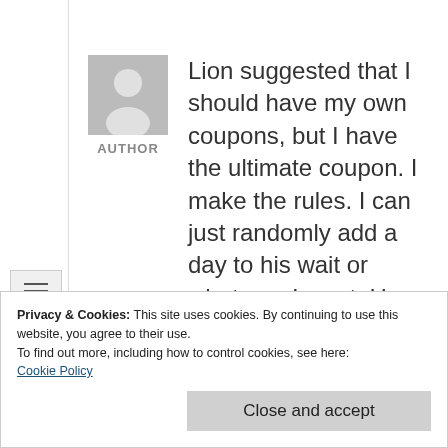[Figure (illustration): Generic author avatar: grey square with white silhouette of a person]
AUTHOR
Lion suggested that I should have my own coupons, but I have the ultimate coupon. I make the rules. I can just randomly add a day to his wait or whatever I want. He said there would be added power if I had him select the them...
Privacy & Cookies: This site uses cookies. By continuing to use this website, you agree to their use.
To find out more, including how to control cookies, see here:
Cookie Policy
Close and accept